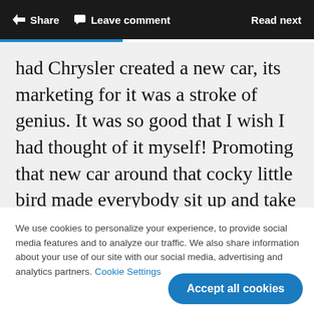Share  Leave comment  Read next
had Chrysler created a new car, its marketing for it was a stroke of genius. It was so good that I wish I had thought of it myself! Promoting that new car around that cocky little bird made everybody sit up and take notice.
We use cookies to personalize your experience, to provide social media features and to analyze our traffic. We also share information about your use of our site with our social media, advertising and analytics partners. Cookie Settings
Accept all cookies